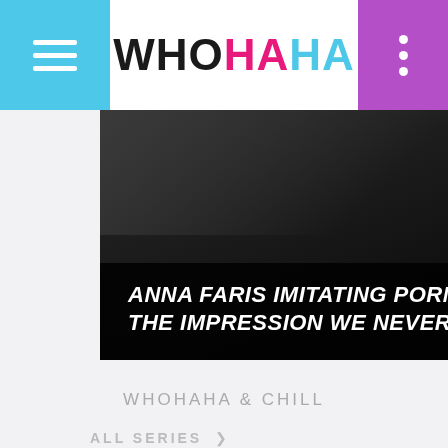WHOHAHA
[Figure (photo): Dark scene photograph with text overlay reading 'ANNA FARIS IMITATING PORN STAR ORGASMS IS THE IMPRESSION WE NEVER KNEW WE NEEDED']
ANNA FARIS IMITATING PORN STAR ORGASMS IS THE IMPRESSION WE NEVER KNEW WE NEEDED
WHOHAHA & CHILL
ALL SERIES >